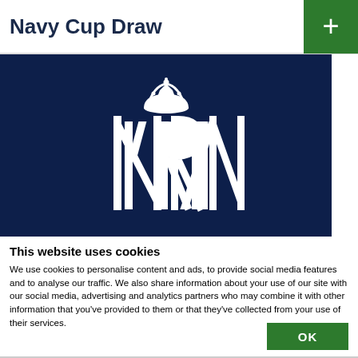Navy Cup Draw
[Figure (logo): Royal Navy crest/monogram logo — white crown above intertwined RN letters on dark navy blue background]
This website uses cookies
We use cookies to personalise content and ads, to provide social media features and to analyse our traffic. We also share information about your use of our site with our social media, advertising and analytics partners who may combine it with other information that you've provided to them or that they've collected from your use of their services.